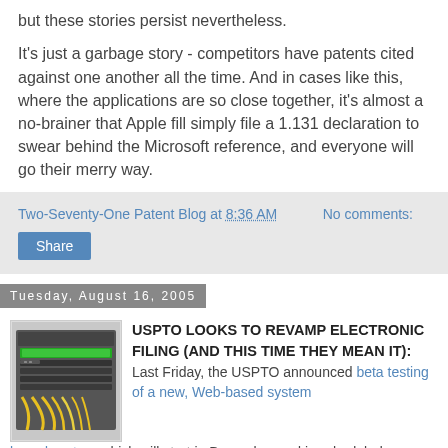but these stories persist nevertheless.
It's just a garbage story - competitors have patents cited against one another all the time. And in cases like this, where the applications are so close together, it's almost a no-brainer that Apple fill simply file a 1.131 declaration to swear behind the Microsoft reference, and everyone will go their merry way.
Two-Seventy-One Patent Blog at 8:36 AM    No comments:
Share
Tuesday, August 16, 2005
[Figure (photo): Server rack or networking equipment with cables and green lit components]
USPTO LOOKS TO REVAMP ELECTRONIC FILING (AND THIS TIME THEY MEAN IT): Last Friday, the USPTO announced beta testing of a new, Web-based system which will start in December and is scheduled